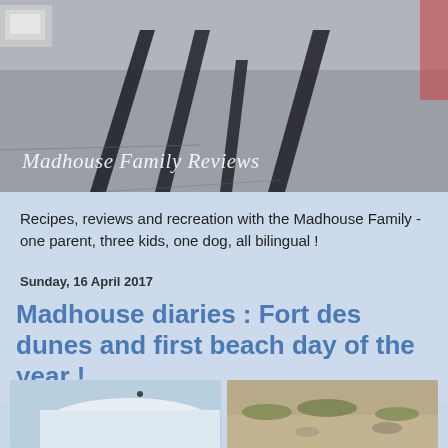[Figure (photo): Header photo showing long shadows of a family (one adult and children) cast on a pavement/road surface, with the blog title 'Madhouse Family Reviews' in italic script overlaid at the bottom left.]
Recipes, reviews and recreation with the Madhouse Family - one parent, three kids, one dog, all bilingual !
Sunday, 16 April 2017
Madhouse diaries : Fort des dunes and first beach day of the year !
[Figure (photo): Partial photo thumbnail on the left, appears to show a white curved object against a pale blue sky.]
[Figure (photo): Partial photo thumbnail on the right, appears to show sandy ground with some grass or vegetation.]